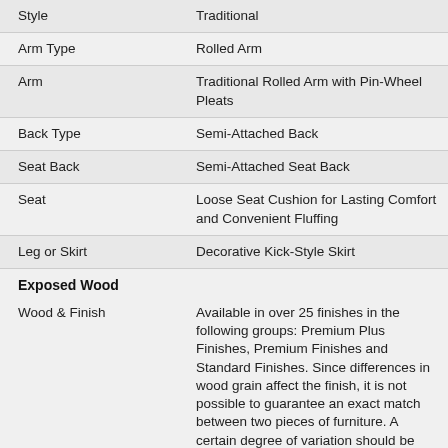| Style | Traditional |
| Arm Type | Rolled Arm |
| Arm | Traditional Rolled Arm with Pin-Wheel Pleats |
| Back Type | Semi-Attached Back |
| Seat Back | Semi-Attached Seat Back |
| Seat | Loose Seat Cushion for Lasting Comfort and Convenient Fluffing |
| Leg or Skirt | Decorative Kick-Style Skirt |
Exposed Wood
| Wood & Finish | Available in over 25 finishes in the following groups: Premium Plus Finishes, Premium Finishes and Standard Finishes. Since differences in wood grain affect the finish, it is not possible to guarantee an exact match between two pieces of furniture. A certain degree of variation should be expected. |